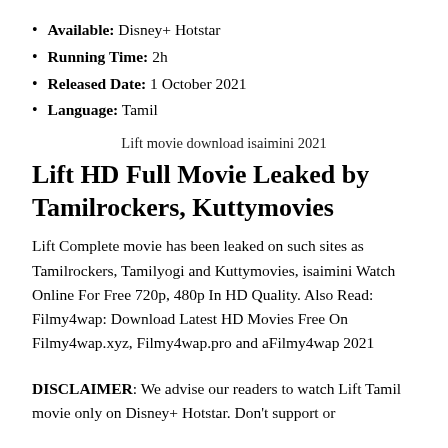Available: Disney+ Hotstar
Running Time: 2h
Released Date: 1 October 2021
Language: Tamil
Lift movie download isaimini 2021
Lift HD Full Movie Leaked by Tamilrockers, Kuttymovies
Lift Complete movie has been leaked on such sites as Tamilrockers, Tamilyogi and Kuttymovies, isaimini Watch Online For Free 720p, 480p In HD Quality. Also Read: Filmy4wap: Download Latest HD Movies Free On Filmy4wap.xyz, Filmy4wap.pro and aFilmy4wap 2021
DISCLAIMER: We advise our readers to watch Lift Tamil movie only on Disney+ Hotstar. Don't support or